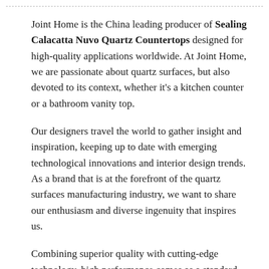Joint Home is the China leading producer of Sealing Calacatta Nuvo Quartz Countertops designed for high-quality applications worldwide. At Joint Home, we are passionate about quartz surfaces, but also devoted to its context, whether it's a kitchen counter or a bathroom vanity top.
Our designers travel the world to gather insight and inspiration, keeping up to date with emerging technological innovations and interior design trends. As a brand that is at the forefront of the quartz surfaces manufacturing industry, we want to share our enthusiasm and diverse ingenuity that inspires us.
Combining superior quality with cutting-edge technology, high performance comes as a standard. Stain, heat and scratch resistant, Joint Home surfaces offer the ultimate versatility,